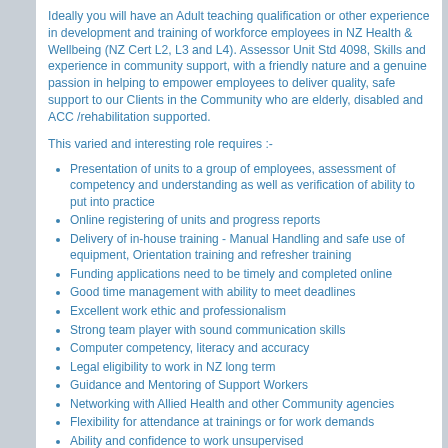Ideally you will have an Adult teaching qualification or other experience in development and training of workforce employees in NZ Health & Wellbeing (NZ Cert L2, L3 and L4). Assessor Unit Std 4098, Skills and experience in community support, with a friendly nature and a genuine passion in helping to empower employees to deliver quality, safe support to our Clients in the Community who are elderly, disabled and ACC /rehabilitation supported.
This varied and interesting role requires :-
Presentation of units to a group of employees, assessment of competency and understanding as well as verification of ability to put into practice
Online registering of units and progress reports
Delivery of in-house training - Manual Handling and safe use of equipment, Orientation training and refresher training
Funding applications need to be timely and completed online
Good time management with ability to meet deadlines
Excellent work ethic and professionalism
Strong team player with sound communication skills
Computer competency, literacy and accuracy
Legal eligibility to work in NZ long term
Guidance and Mentoring of Support Workers
Networking with Allied Health and other Community agencies
Flexibility for attendance at trainings or for work demands
Ability and confidence to work unsupervised
Loyalty and adherence to organisations vision and policies
Great customer service skills